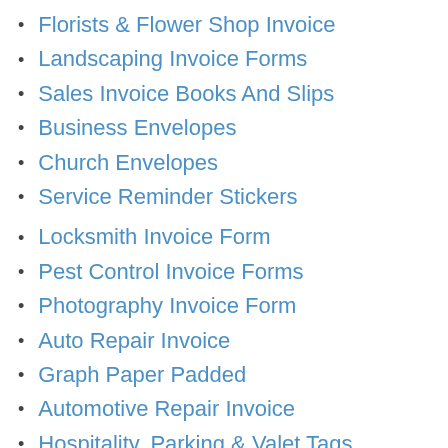Florists & Flower Shop Invoice
Landscaping Invoice Forms
Sales Invoice Books And Slips
Business Envelopes
Church Envelopes
Service Reminder Stickers
Locksmith Invoice Form
Pest Control Invoice Forms
Photography Invoice Form
Auto Repair Invoice
Graph Paper Padded
Automotive Repair Invoice
Hospitality, Parking & Valet Tags